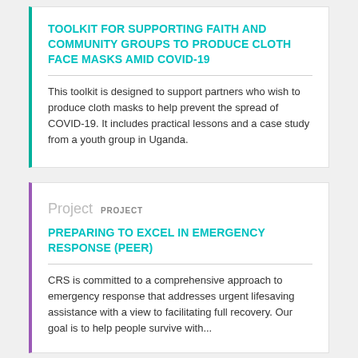TOOLKIT FOR SUPPORTING FAITH AND COMMUNITY GROUPS TO PRODUCE CLOTH FACE MASKS AMID COVID-19
This toolkit is designed to support partners who wish to produce cloth masks to help prevent the spread of COVID-19. It includes practical lessons and a case study from a youth group in Uganda.
Project  PROJECT
PREPARING TO EXCEL IN EMERGENCY RESPONSE (PEER)
CRS is committed to a comprehensive approach to emergency response that addresses urgent lifesaving assistance with a view to facilitating full recovery. Our goal is to help people survive with...